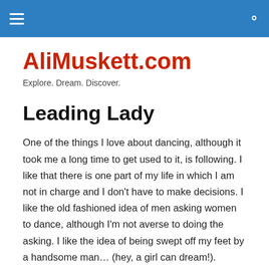AliMuskett.com [navigation bar with hamburger menu and search icon]
AliMuskett.com
Explore. Dream. Discover.
Leading Lady
One of the things I love about dancing, although it took me a long time to get used to it, is following. I like that there is one part of my life in which I am not in charge and I don't have to make decisions. I like the old fashioned idea of men asking women to dance, although I'm not averse to doing the asking. I like the idea of being swept off my feet by a handsome man… (hey, a girl can dream!).